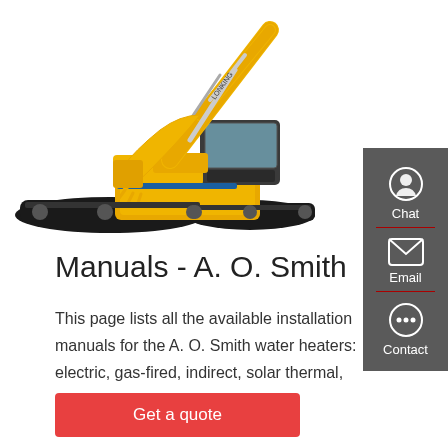[Figure (photo): Yellow Lonking excavator/crawler crane on white background, with extended boom arm and bucket]
Manuals - A. O. Smith
This page lists all the available installation manuals for the A. O. Smith water heaters: electric, gas-fired, indirect, solar thermal, storage vessels.
Get a quote